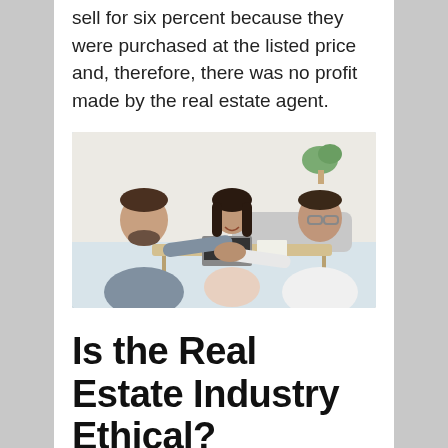sell for six percent because they were purchased at the listed price and, therefore, there was no profit made by the real estate agent.
[Figure (photo): Two men shaking hands across a desk with a woman sitting between them, smiling. A laptop and documents are on the desk. Indoor setting with a plant in the background.]
Is the Real Estate Industry Ethical?